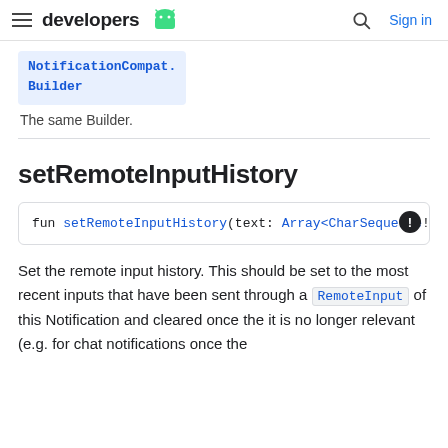developers [android logo] | [search icon] Sign in
NotificationCompat.Builder
The same Builder.
setRemoteInputHistory
fun setRemoteInputHistory(text: Array<CharSequence!>
Set the remote input history. This should be set to the most recent inputs that have been sent through a RemoteInput of this Notification and cleared once the it is no longer relevant (e.g. for chat notifications once the